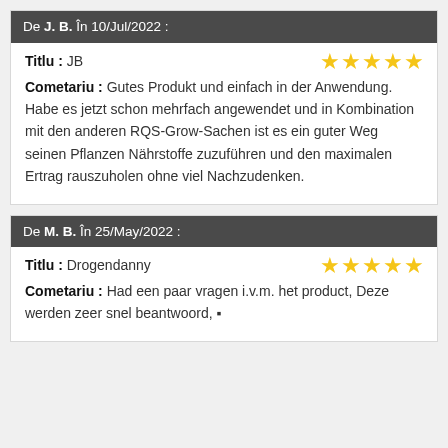De J. B. În 10/Jul/2022 :
Titlu : JB
Cometariu : Gutes Produkt und einfach in der Anwendung. Habe es jetzt schon mehrfach angewendet und in Kombination mit den anderen RQS-Grow-Sachen ist es ein guter Weg seinen Pflanzen Nährstoffe zuzuführen und den maximalen Ertrag rauszuholen ohne viel Nachzudenken.
De M. B. În 25/May/2022 :
Titlu : Drogendanny
Cometariu : Had een paar vragen i.v.m. het product, Deze werden zeer snel beantwoord, 🌿